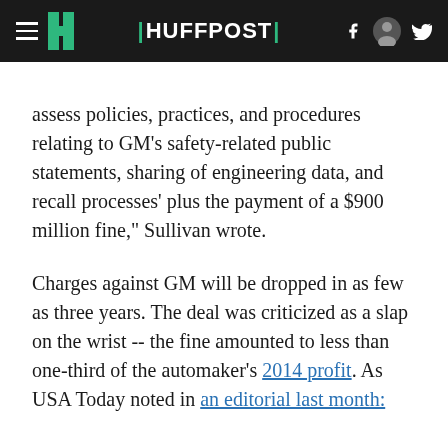HUFFPOST
assess policies, practices, and procedures relating to GM's safety-related public statements, sharing of engineering data, and recall processes' plus the payment of a $900 million fine," Sullivan wrote.
Charges against GM will be dropped in as few as three years. The deal was criticized as a slap on the wrist -- the fine amounted to less than one-third of the automaker's 2014 profit. As USA Today noted in an editorial last month: